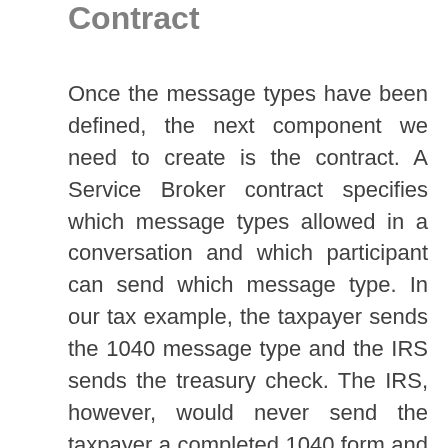Contract
Once the message types have been defined, the next component we need to create is the contract. A Service Broker contract specifies which message types allowed in a conversation and which participant can send which message type. In our tax example, the taxpayer sends the 1040 message type and the IRS sends the treasury check. The IRS, however, would never send the taxpayer a completed 1040 form and a taxpayer would never send a treasury check. Why is this important? By defining what message